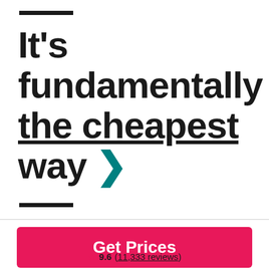It's fundamentally the cheapest way ›
Get Prices
★ 9.6 (11,333 reviews)